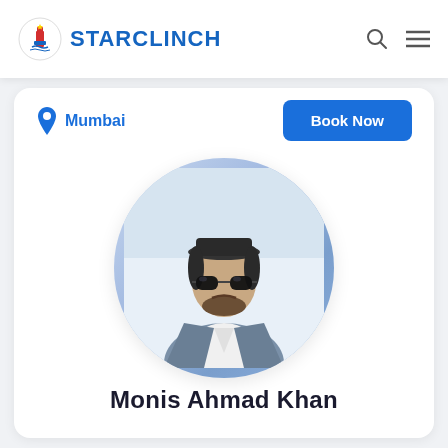STARCLINCH
Mumbai
Book Now
[Figure (photo): Circular profile photo of Monis Ahmad Khan, a man wearing sunglasses, a hat, and a grey blazer over a white v-neck shirt]
Monis Ahmad Khan